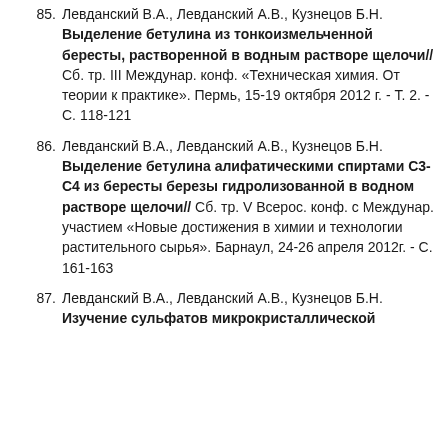85. Левданский В.А., Левданский А.В., Кузнецов Б.Н. Выделение бетулина из тонкоизмельченной бересты, растворенной в водным растворе щелочи// Сб. тр. III Междунар. конф. «Техническая химия. От теории к практике». Пермь, 15-19 октября 2012 г. - Т. 2. - С. 118-121
86. Левданский В.А., Левданский А.В., Кузнецов Б.Н. Выделение бетулина алифатическими спиртами С3-С4 из бересты березы гидролизованной в водном растворе щелочи// Сб. тр. V Всерос. конф. с Междунар. участием «Новые достижения в химии и технологии растительного сырья». Барнаул, 24-26 апреля 2012г. - С. 161-163
87. Левданский В.А., Левданский А.В., Кузнецов Б.Н. Изучение сульфатов микрокристаллической